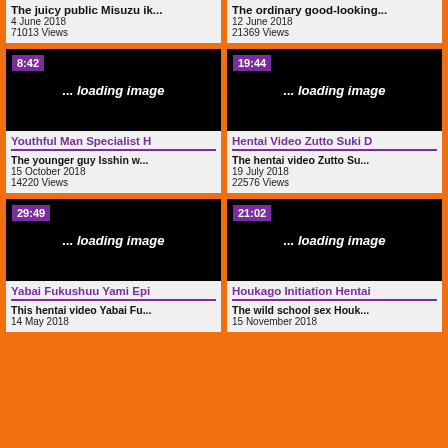The juicy public Misuzu ik...
4 June 2018
71013 Views
The ordinary good-looking...
12 June 2018
21369 Views
[Figure (screenshot): Video thumbnail loading image with duration 8:42, titled Youthful Man Specialist H]
[Figure (screenshot): Video thumbnail loading image with duration 19:44, titled Hentai Video Zutto Suki D]
[Figure (screenshot): Video thumbnail loading image with duration 29:49, titled Yabai Fukushuu Yami Epi]
[Figure (screenshot): Video thumbnail loading image with duration 21:02, titled Houkago Initiation Hentai]